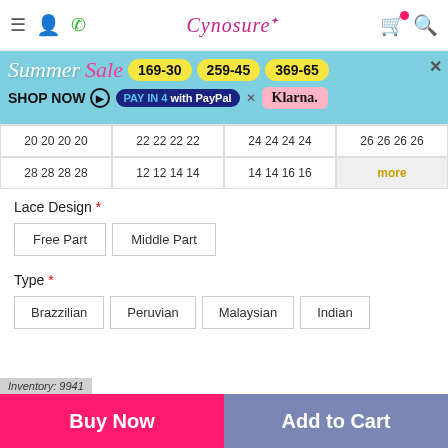Cynosure (logo) — navigation header with hamburger, user, phone, cart, search icons
[Figure (infographic): Summer Sale promotional banner: Summer Sale text, discount codes 169-30, 259-45, 369-65 in yellow pills, SHOP NOW button, PAY IN 4 with PayPal x Klarna payment options]
| 20 20 20 20 | 22 22 22 22 | 24 24 24 24 | 26 26 26 26 |
| 28 28 28 28 | 12 12 14 14 | 14 14 16 16 | more |
Lace Design *
Free Part | Middle Part
Type *
Brazzilian | Peruvian | Malaysian | Indian
Buy Now
Add to Cart
Inventory: 9941